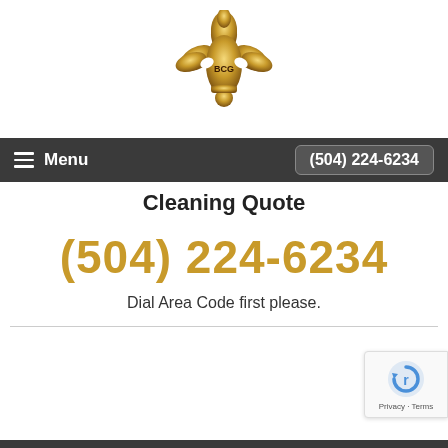[Figure (logo): BCG fleur-de-lis gold logo with 'BCG' text in center]
Menu   (504) 224-6234
Cleaning Quote
(504) 224-6234
Dial Area Code first please.